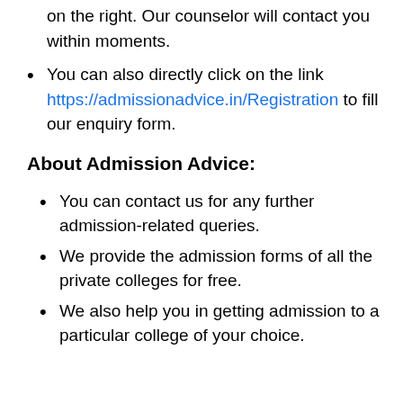on the right. Our counselor will contact you within moments.
You can also directly click on the link https://admissionadvice.in/Registration to fill our enquiry form.
About Admission Advice:
You can contact us for any further admission-related queries.
We provide the admission forms of all the private colleges for free.
We also help you in getting admission to a particular college of your choice.